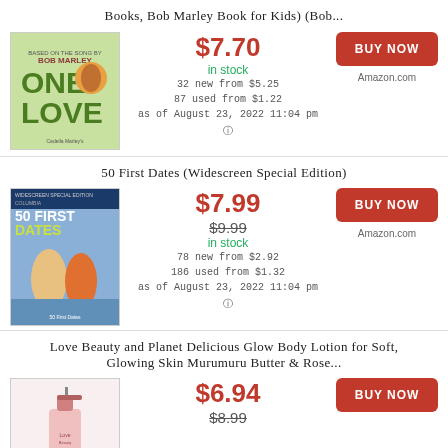Books, Bob Marley Book for Kids) (Bob...
[Figure (photo): Book cover: One Love based on the song by Bob Marley, illustrated children's book]
$7.70
in stock
32 new from $5.25
87 used from $1.22
as of August 23, 2022 11:04 pm
BUY NOW
Amazon.com
50 First Dates (Widescreen Special Edition)
[Figure (photo): DVD cover: 50 First Dates Widescreen Special Edition]
$7.99
$9.99
in stock
78 new from $2.92
186 used from $1.32
as of August 23, 2022 11:04 pm
BUY NOW
Amazon.com
Love Beauty and Planet Delicious Glow Body Lotion for Soft, Glowing Skin Murumuru Butter & Rose...
[Figure (photo): Product image: Love Beauty and Planet body lotion pump bottle]
$6.94
$8.99
BUY NOW